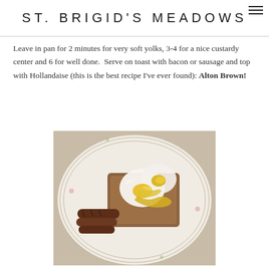ST. BRIGID'S MEADOWS
Leave in pan for 2 minutes for very soft yolks, 3-4 for a nice custardy center and 6 for well done.  Serve on toast with bacon or sausage and top with Hollandaise (this is the best recipe I've ever found): Alton Brown!
[Figure (photo): A plate of poached eggs with hollandaise sauce served on toast with sausage links, on a decorative white plate.]